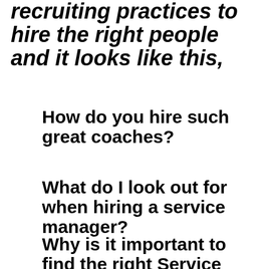recruiting practices to hire the right people and it looks like this,
How do you hire such great coaches?
What do I look out for when hiring a service manager?
Why is it important to find the right Service